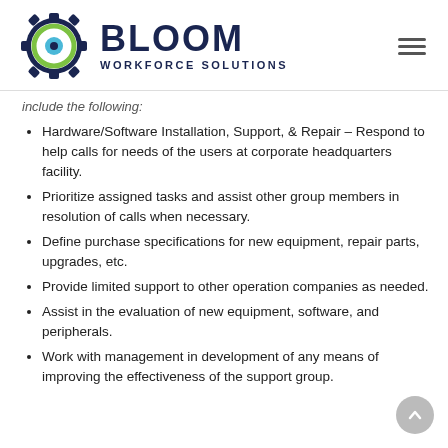[Figure (logo): Bloom Workforce Solutions logo with gear icon featuring a blue eye in the center and green circle, alongside bold dark blue text 'BLOOM' and subtitle 'WORKFORCE SOLUTIONS']
include the following:
Hardware/Software Installation, Support, & Repair – Respond to help calls for needs of the users at corporate headquarters facility.
Prioritize assigned tasks and assist other group members in resolution of calls when necessary.
Define purchase specifications for new equipment, repair parts, upgrades, etc.
Provide limited support to other operation companies as needed.
Assist in the evaluation of new equipment, software, and peripherals.
Work with management in development of any means of improving the effectiveness of the support group.